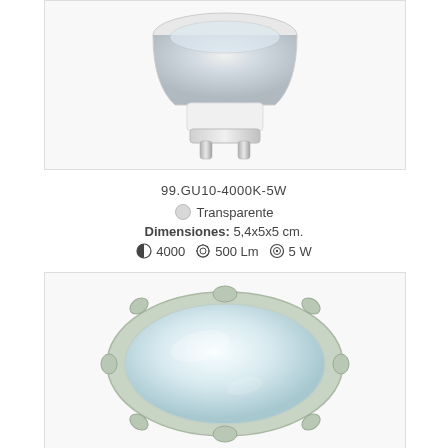[Figure (photo): GU10 LED bulb side/top view showing reflector cup, white ceramic base and metal GU10 pins]
99.GU10-4000K-5W
Transparente
Dimensiones: 5,4x5x5 cm.
4000  500 Lm  5 W
[Figure (photo): GU10 LED bulb front/lens view showing transparent glass lens with scalloped rim and reflective surface]